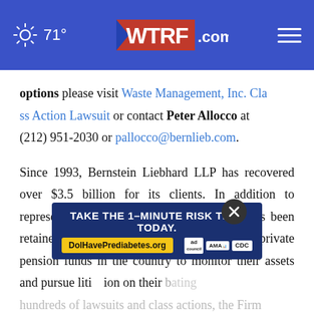71° WTRF.com
options please visit Waste Management, Inc. Class Action Lawsuit or contact Peter Allocco at (212) 951-2030 or pallocco@bernlieb.com.
Since 1993, Bernstein Liebhard LLP has recovered over $3.5 billion for its clients. In addition to representing individual investors, the Firm has been retained by some of the largest public and private pension funds in the country to monitor their assets and pursue litigation on their behalf, initiating hundreds of lawsuits and class actions, the Firm
[Figure (infographic): Advertisement overlay: 'TAKE THE 1-MINUTE RISK TEST TODAY.' with DolHavePrediabetes.org URL, ad council, AMA, and CDC logos. Close button (X) overlaid on the page.]